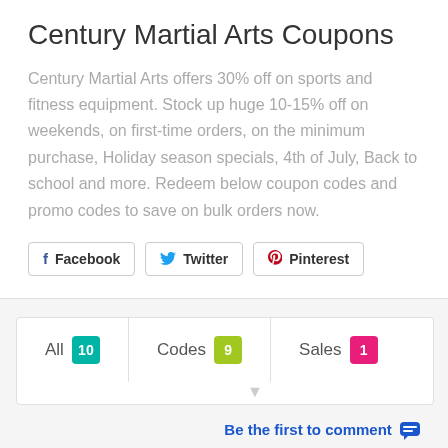Century Martial Arts Coupons
Century Martial Arts offers 30% off on sports and fitness equipment. Stock up huge 10-15% off on weekends, on first-time orders, on the minimum purchase, Holiday season specials, 4th of July, Back to school and more. Redeem below coupon codes and promo codes to save on bulk orders now.
Facebook  Twitter  Pinterest
All 10  Codes 9  Sales 1
Be the first to comment